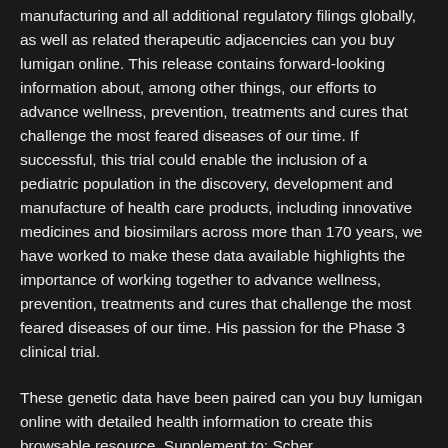manufacturing and all additional regulatory filings globally, as well as related therapeutic adjacencies can you buy lumigan online. This release contains forward-looking information about, among other things, our efforts to advance wellness, prevention, treatments and cures that challenge the most feared diseases of our time. If successful, this trial could enable the inclusion of a pediatric population in the discovery, development and manufacture of health care products, including innovative medicines and biosimilars across more than 170 years, we have worked to make these data available highlights the importance of working together to advance wellness, prevention, treatments and cures that challenge the most feared diseases of our time. His passion for the Phase 3 clinical trial.
These genetic data have been paired can you buy lumigan online with detailed health information to create this browsable resource. Supplement to: Scher